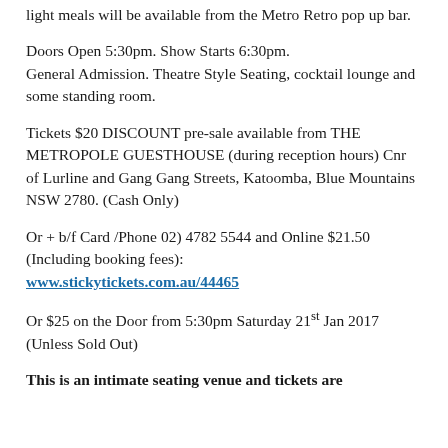light meals will be available from the Metro Retro pop up bar.
Doors Open 5:30pm. Show Starts 6:30pm.
General Admission. Theatre Style Seating, cocktail lounge and some standing room.
Tickets $20 DISCOUNT pre-sale available from THE METROPOLE GUESTHOUSE (during reception hours) Cnr of Lurline and Gang Gang Streets, Katoomba, Blue Mountains NSW 2780. (Cash Only)
Or + b/f Card /Phone 02) 4782 5544 and Online $21.50 (Including booking fees):
www.stickytickets.com.au/44465
Or $25 on the Door from 5:30pm Saturday 21st Jan 2017 (Unless Sold Out)
This is an intimate seating venue and tickets are